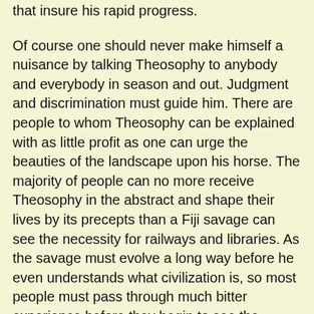that insure his rapid progress.
Of course one should never make himself a nuisance by talking Theosophy to anybody and everybody in season and out. Judgment and discrimination must guide him. There are people to whom Theosophy can be explained with as little profit as one can urge the beauties of the landscape upon his horse. The majority of people can no more receive Theosophy in the abstract and shape their lives by its precepts than a Fiji savage can see the necessity for railways and libraries. As the savage must evolve a long way before he even understands what civilization is, so most people must pass through much bitter experience before they begin to see the purpose of physical existence at all and to understand that there is such a thing as life that is not centered in material things and material pursuits. But certain it is that in every community there are a few people who can receive Theosophy, as Theosophy, as a philosophy of life, as the science of the soul, while almost everybody can receive it indirectly; that is, accept something of its principles when they are not labelled "Theosophy", and when they are unaccompanied with any effort to induce them to accept a new and strange view of existence that suddenly upsets all their established ideas. There are always opportunities everywhere to give some light to others, for all are struggling with their personal problems; and if we see that we cannot